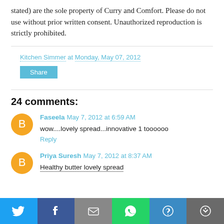stated) are the sole property of Curry and Comfort. Please do not use without prior written consent. Unauthorized reproduction is strictly prohibited.
Kitchen Simmer at Monday, May 07, 2012
Share
24 comments:
Faseela  May 7, 2012 at 6:59 AM
wow....lovely spread...innovative 1 toooooo
Reply
Priya Suresh  May 7, 2012 at 8:37 AM
Healthy butter lovely spread
[Figure (infographic): Social sharing bar at the bottom with Twitter, Facebook, Email, WhatsApp, SMS, and More icons]